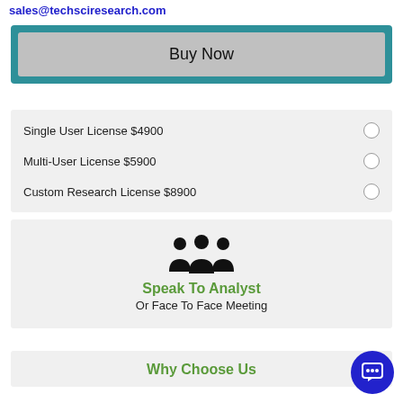sales@techsciresearch.com
Buy Now
Single User License $4900
Multi-User License $5900
Custom Research License $8900
[Figure (illustration): Three people icon representing analyst team]
Speak To Analyst
Or Face To Face Meeting
Why Choose Us